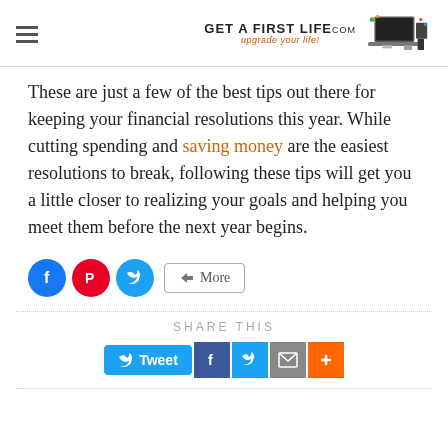[Figure (logo): Get A First Life logo with text and laptop/devices illustration]
These are just a few of the best tips out there for keeping your financial resolutions this year. While cutting spending and saving money are the easiest resolutions to break, following these tips will get you a little closer to realizing your goals and helping you meet them before the next year begins.
[Figure (infographic): Social share buttons: Facebook (blue circle), Pinterest (red circle), Twitter (cyan circle), More button]
[Figure (infographic): Share This section with Tweet, Facebook, Twitter, Email, and Plus share buttons]